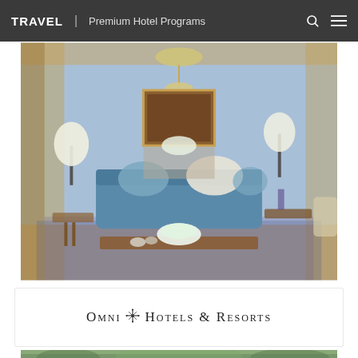TRAVEL | Premium Hotel Programs
[Figure (photo): Elegant hotel suite living room with blue velvet sofa, gold-trimmed blue walls, chandelier, classical paintings, and floral arrangement on coffee table]
[Figure (logo): Omni Hotels & Resorts logo in serif small-caps text with snowflake emblem]
[Figure (photo): Partial view of a second hotel exterior photo with green foliage, cropped at bottom of page]